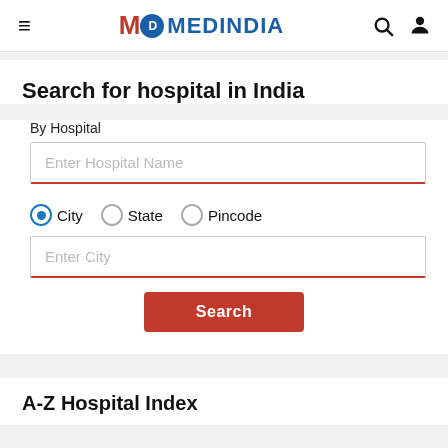MD MEDINDIA
Search for hospital in India
By Hospital
Enter Hospital Name
City   State   Pincode
Enter City
Search
A-Z Hospital Index